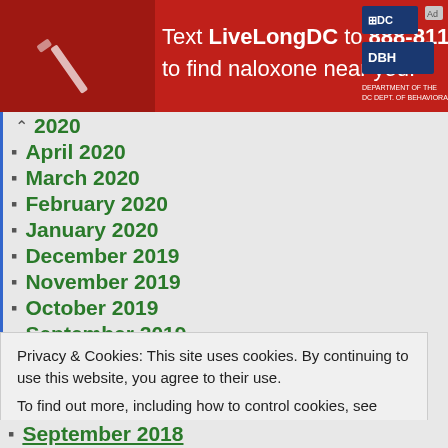[Figure (infographic): Red banner advertisement: Text LiveLongDC to 888-811 to find naloxone near you. DC government and DBH logos on right.]
2020 (partially visible, collapsed)
April 2020
March 2020
February 2020
January 2020
December 2019
November 2019
October 2019
September 2019
August 2019
July 2019
June 2019
May 2019
Privacy & Cookies: This site uses cookies. By continuing to use this website, you agree to their use.
To find out more, including how to control cookies, see here: Cookie Policy
September 2018